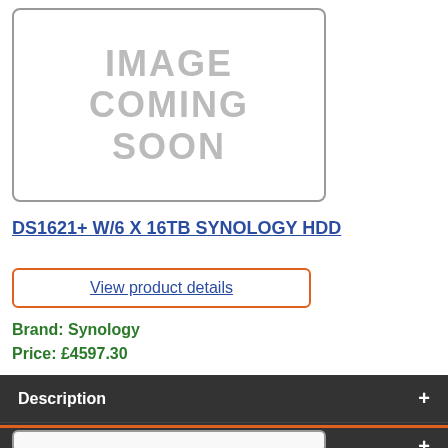[Figure (other): IMAGE COMING SOON placeholder image box]
DS1621+ W/6 X 16TB SYNOLOGY HDD
View product details
Brand: Synology
Price: £4597.30
Description
Product details
[Figure (photo): Partial product image at bottom, cut off]